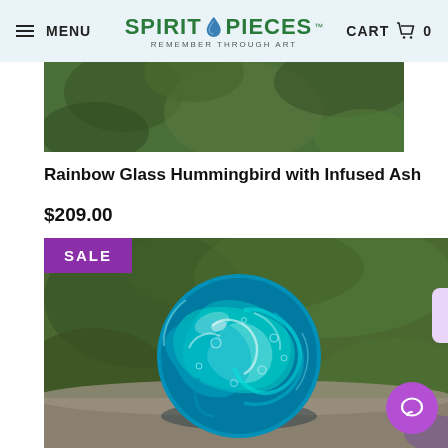MENU | SPIRIT PIECES REMEMBER THROUGH ART | CART 0
[Figure (photo): Partial product photo showing blurred green foliage background, top of product image cut off]
Rainbow Glass Hummingbird with Infused Ash
$209.00
[Figure (photo): Glass memorial orb paperweight with swirling teal and blue colors, infused with ash, photographed against blurred green foliage background. SALE badge in purple at top left.]